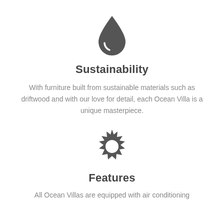[Figure (illustration): Water drop icon in dark grey]
Sustainability
With furniture built from sustainable materials such as driftwood and with our love for detail, each Ocean Villa is a unique masterpiece.
[Figure (illustration): Sun/gear icon with spiky outline in dark grey]
Features
All Ocean Villas are equipped with air conditioning